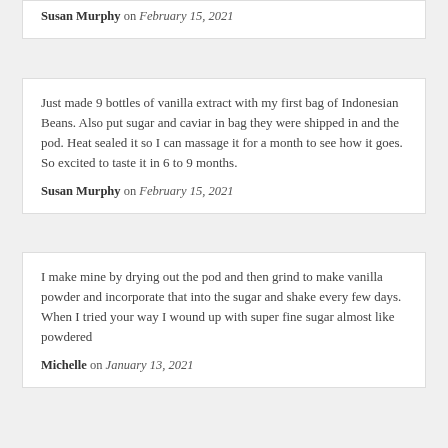Susan Murphy on February 15, 2021
Just made 9 bottles of vanilla extract with my first bag of Indonesian Beans. Also put sugar and caviar in bag they were shipped in and the pod. Heat sealed it so I can massage it for a month to see how it goes. So excited to taste it in 6 to 9 months.
Susan Murphy on February 15, 2021
I make mine by drying out the pod and then grind to make vanilla powder and incorporate that into the sugar and shake every few days. When I tried your way I wound up with super fine sugar almost like powdered
Michelle on January 13, 2021